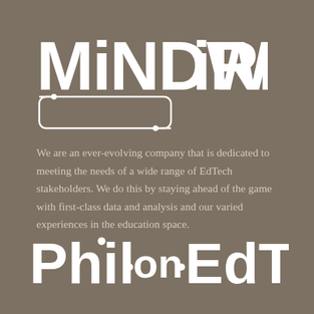[Figure (logo): MindWires logo: large stylized white text 'MiNDWiRES' with circuit-board decorative border underneath the text]
We are an ever-evolving company that is dedicated to meeting the needs of a wide range of EdTech stakeholders. We do this by staying ahead of the game with first-class data and analysis and our varied experiences in the education space.
[Figure (logo): Phil on EdTech logo: large bold white text 'PhilonEdTech' with small circuit node dots decorating the letters]